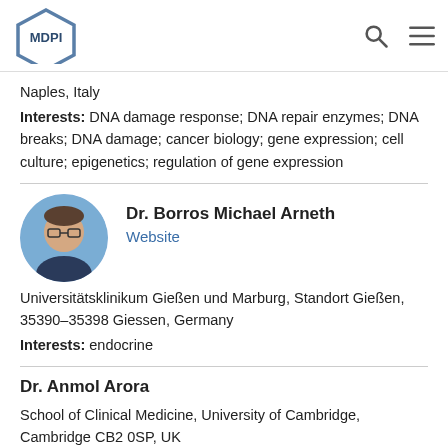[Figure (logo): MDPI logo with hexagon shape and search/menu icons in header]
Naples, Italy
Interests: DNA damage response; DNA repair enzymes; DNA breaks; DNA damage; cancer biology; gene expression; cell culture; epigenetics; regulation of gene expression
[Figure (photo): Circular headshot photo of Dr. Borros Michael Arneth]
Dr. Borros Michael Arneth
Website
Universitätsklinikum Gießen und Marburg, Standort Gießen, 35390–35398 Giessen, Germany
Interests: endocrine
Dr. Anmol Arora
School of Clinical Medicine, University of Cambridge, Cambridge CB2 0SP, UK
Interests: artificial intelligenc; emedical education; healthcare innovation